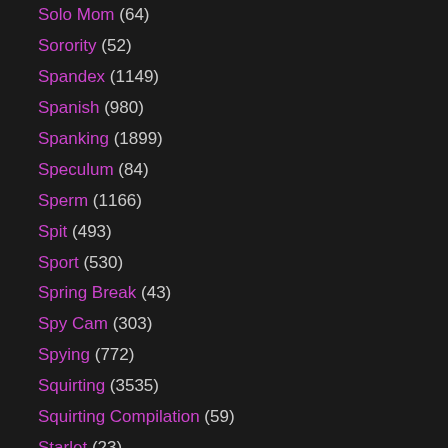Solo Mom (64)
Sorority (52)
Spandex (1149)
Spanish (980)
Spanking (1899)
Speculum (84)
Sperm (1166)
Spit (493)
Sport (530)
Spring Break (43)
Spy Cam (303)
Spying (772)
Squirting (3535)
Squirting Compilation (59)
Starlet (23)
Stewardess (45)